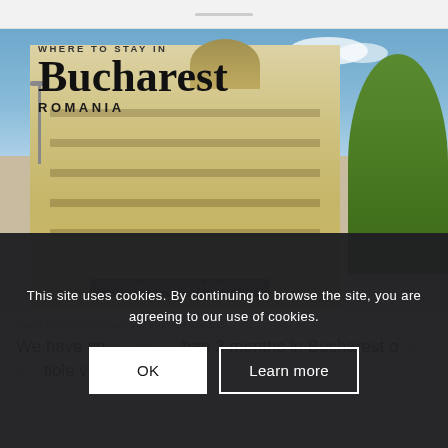[Figure (photo): Website screenshot showing a travel page titled 'Where to Stay in Bucharest, Romania' with a photo of a grand historic hotel building (Hotel Capitol) in Bucharest against a blue sky with green trees on the right side.]
Last Updated on August 13, 2019 by Carissa
We have sp... than 3 months in Bucharest o... tiole visits in the past...
This site uses cookies. By continuing to browse the site, you are agreeing to our use of cookies.
OK
Learn more